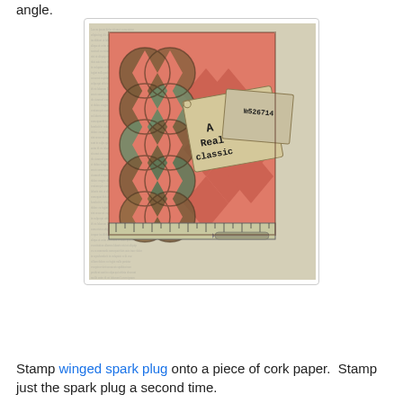angle.
[Figure (photo): A handmade craft card featuring interlocking circular die-cut elements in teal/rust tones arranged vertically on a salmon/coral background with harlequin diamond pattern. A vintage tag reads 'A Real Classic No526714'. A ruler and screw embellishment are at the bottom. The background paper has a text/newsprint pattern.]
Stamp winged spark plug onto a piece of cork paper.  Stamp just the spark plug a second time.